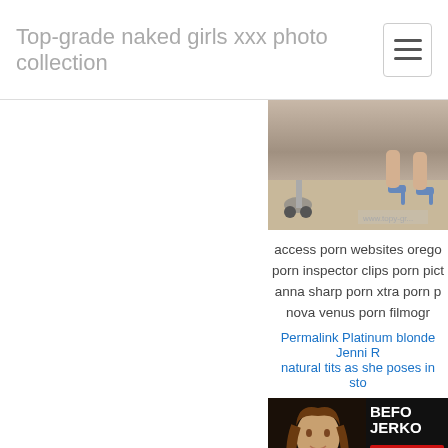Top-grade naked girls xxx photo collection
[Figure (photo): Partial view of a person's legs near an office chair on carpet]
access porn websites oregon porn inspector clips porn pictures anna sharp porn xtra porn p nova venus porn filmogr
Permalink Platinum blonde Jenni natural tits as she poses in sto
[Figure (photo): Photo of a woman with ad overlay text reading BEFORE JERKO GET LA NO CR NO S]